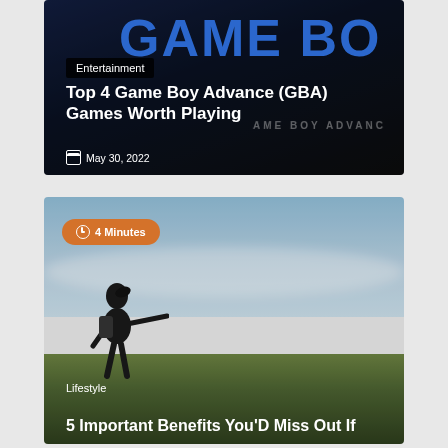[Figure (photo): Article card showing Game Boy Advance device photo with Entertainment category label, article title 'Top 4 Game Boy Advance (GBA) Games Worth Playing', and date May 30, 2022]
[Figure (photo): Article card showing woman with backpack on hilltop with arms outstretched, with '4 Minutes' reading time badge, Lifestyle category label, and partial title '5 Important Benefits You'D Miss Out If']